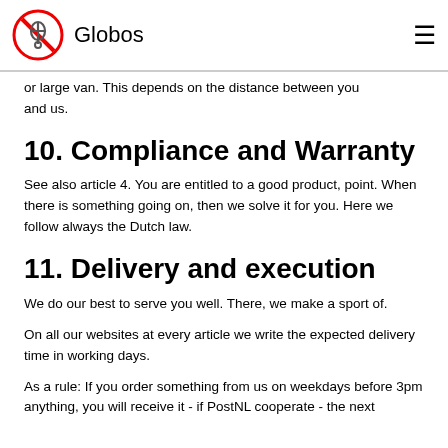Globos
or large van. This depends on the distance between you and us.
10. Compliance and Warranty
See also article 4. You are entitled to a good product, point. When there is something going on, then we solve it for you. Here we follow always the Dutch law.
11. Delivery and execution
We do our best to serve you well. There, we make a sport of.
On all our websites at every article we write the expected delivery time in working days.
As a rule: If you order something from us on weekdays before 3pm anything, you will receive it - if PostNL cooperate - the next